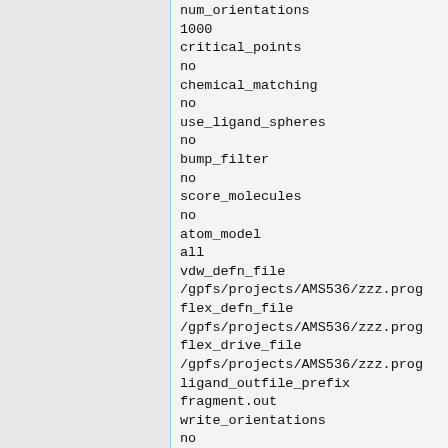1000
critical_points
no
chemical_matching
no
use_ligand_spheres
no
bump_filter
no
score_molecules
no
atom_model
all
vdw_defn_file
/gpfs/projects/AMS536/zzz.prog
flex_defn_file
/gpfs/projects/AMS536/zzz.prog
flex_drive_file
/gpfs/projects/AMS536/zzz.prog
ligand_outfile_prefix
fragment.out
write_orientations
no
num_scored_conformers
1